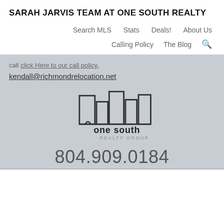SARAH JARVIS TEAM AT ONE SOUTH REALTY
Search MLS | Stats | Deals! | About Us | Calling Policy | The Blog
call click here to our call policy.
kendall@richmondrelocation.net
[Figure (logo): One South Realty Group logo — stylized city skyline outline above 'one south REALTY GROUP' text]
804.909.0184